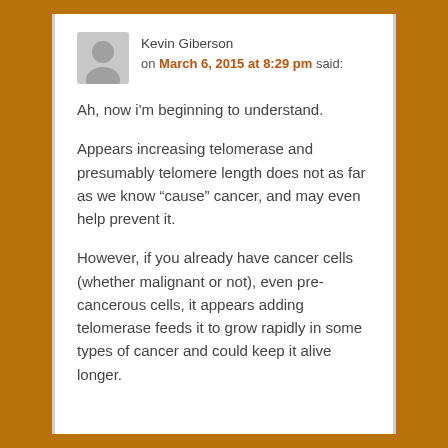Kevin Giberson on March 6, 2015 at 8:29 pm said:
Ah, now i'm beginning to understand.
Appears increasing telomerase and presumably telomere length does not as far as we know “cause” cancer, and may even help prevent it.
However, if you already have cancer cells (whether malignant or not), even pre-cancerous cells, it appears adding telomerase feeds it to grow rapidly in some types of cancer and could keep it alive longer.